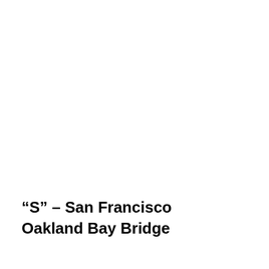“S” – San Francisco Oakland Bay Bridge